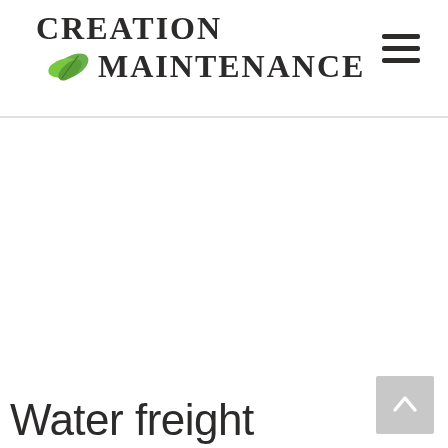CREATION MAINTENANCE
Water freight